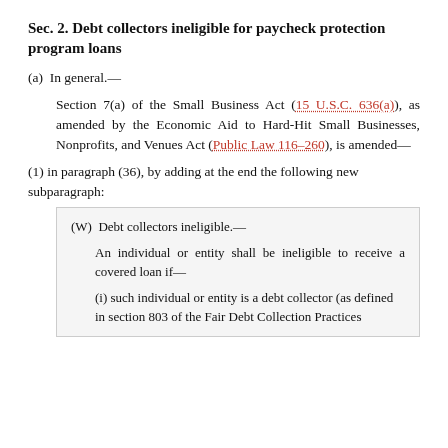Sec. 2. Debt collectors ineligible for paycheck protection program loans
(a)  In general.—
Section 7(a) of the Small Business Act (15 U.S.C. 636(a)), as amended by the Economic Aid to Hard-Hit Small Businesses, Nonprofits, and Venues Act (Public Law 116–260), is amended—
(1) in paragraph (36), by adding at the end the following new subparagraph:
(W) Debt collectors ineligible.—

An individual or entity shall be ineligible to receive a covered loan if—

(i) such individual or entity is a debt collector (as defined in section 803 of the Fair Debt Collection Practices Act (15 U.S.C. ....)).